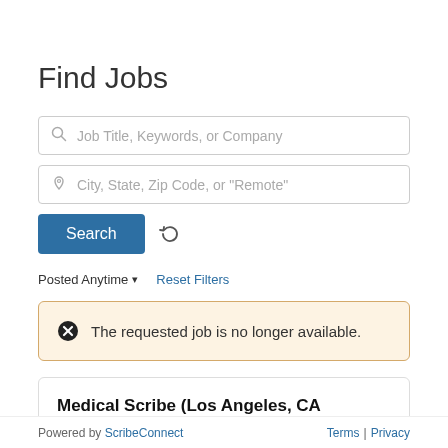Find Jobs
Job Title, Keywords, or Company
City, State, Zip Code, or "Remote"
Search
Posted Anytime ▾   Reset Filters
The requested job is no longer available.
Medical Scribe (Los Angeles, CA Locations) - REF
Powered by ScribeConnect    Terms | Privacy